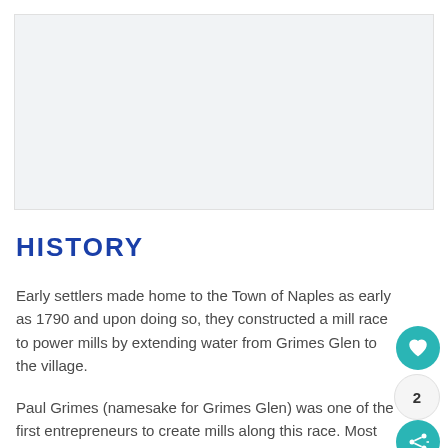[Figure (photo): Image placeholder area, light gray background]
HISTORY
Early settlers made home to the Town of Naples as early as 1790 and upon doing so, they constructed a mill race to power mills by extending water from Grimes Glen to the village.
Paul Grimes (namesake for Grimes Glen) was one of the first entrepreneurs to create mills along this race. Most